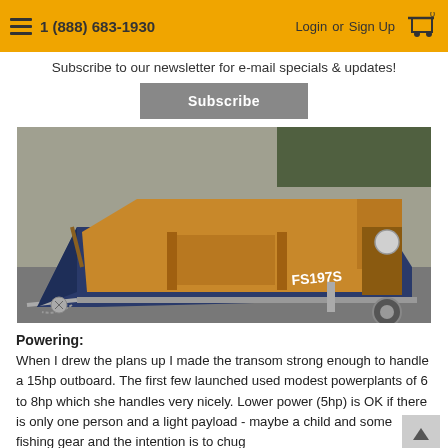1 (888) 683-1930  Login or Sign Up  0
Subscribe to our newsletter for e-mail specials & updates!
Subscribe
[Figure (photo): A wooden flat-bottomed boat with blue exterior labeled FS197S, sitting on a trailer in a parking area. The interior shows natural wood planking and thwarts.]
Powering:
When I drew the plans up I made the transom strong enough to handle a 15hp outboard. The first few launched used modest powerplants of 6 to 8hp which she handles very nicely. Lower power (5hp) is OK if there is only one person and a light payload - maybe a child and some fishing gear and the intention is to chug